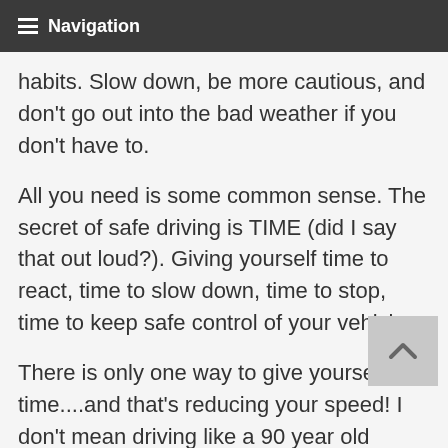Navigation
habits. Slow down, be more cautious, and don't go out into the bad weather if you don't have to.
All you need is some common sense. The secret of safe driving is TIME (did I say that out loud?). Giving yourself time to react, time to slow down, time to stop, time to keep safe control of your vehicle.
There is only one way to give yourself time....and that's reducing your speed! I don't mean driving like a 90 year old grandmother. I mean driving at a speed which is appropriate for the road and the conditions.
Moving off on ice & snow requires a higher gear